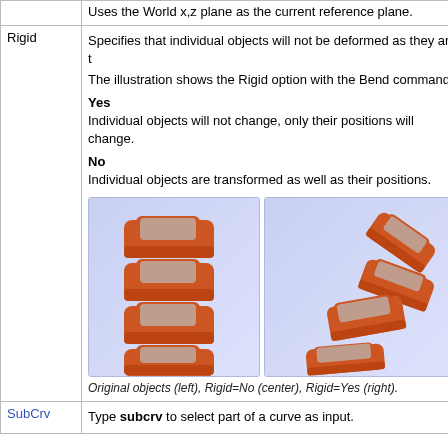| (truncated top row) | Uses the World x,z plane as the current reference plane. |
| Rigid | Specifies that individual objects will not be deformed as they are t...
The illustration shows the Rigid option with the Bend command.

Yes
Individual objects will not change, only their positions will change.

No
Individual objects are transformed as well as their positions.

[illustration: Original objects (left), Rigid=No (center), Rigid=Yes (right).] |
| SubCrv | Type subcrv to select part of a curve as input. |
Original objects (left), Rigid=No (center), Rigid=Yes (right).
[Figure (illustration): Two side-by-side illustrations showing 3D car objects. Left panel: four orange cars stacked vertically (original/rigid=yes). Right panel: four orange cars arranged in an arc/bent formation (rigid=no).]